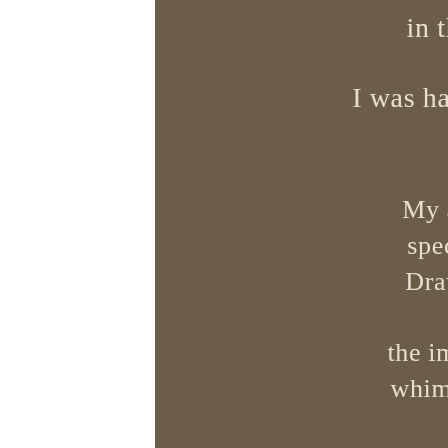in the 1970's as a ballet dancer
I was handed an old camera……
A new canvas!
My aim is to capture your special moments in time. Drawing on a life time of artistic mediums the images I create capture a whimsical style of a bygone age. Influenced by the old masters, my portraits seem more like paintings with attention to light and colour. Images with a touch of fantasy